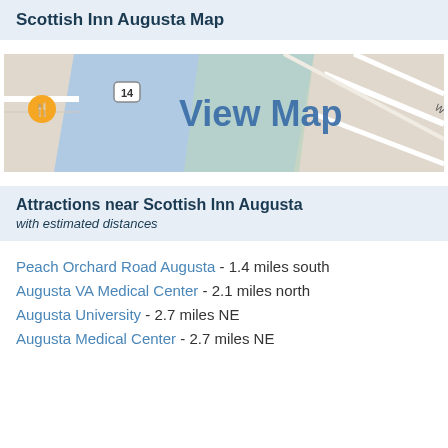Scottish Inn Augusta Map
[Figure (map): Map thumbnail showing area around Scottish Inn Augusta with hotel price markers ($50, $54, $43) and a 'View Map' overlay text. Shows roads, a blue water/area region, route 14 marker, and restaurant icon.]
Attractions near Scottish Inn Augusta with estimated distances
Peach Orchard Road Augusta - 1.4 miles south
Augusta VA Medical Center - 2.1 miles north
Augusta University - 2.7 miles NE
Augusta Medical Center - 2.7 miles NE